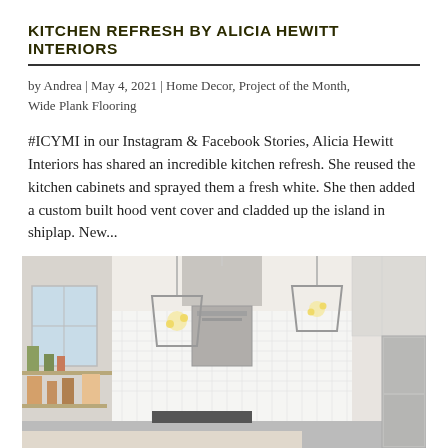KITCHEN REFRESH BY ALICIA HEWITT INTERIORS
by Andrea | May 4, 2021 | Home Decor, Project of the Month, Wide Plank Flooring
#ICYMI in our Instagram & Facebook Stories, Alicia Hewitt Interiors has shared an incredible kitchen refresh. She reused the kitchen cabinets and sprayed them a fresh white. She then added a custom built hood vent cover and cladded up the island in shiplap. New...
[Figure (photo): Interior photo of a refreshed kitchen with white cabinets, geometric pendant lights, stainless steel range hood, white tile backsplash, and open wooden shelves with decorative items.]